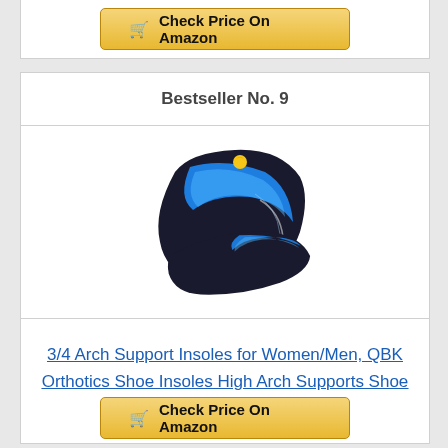[Figure (other): Shopping cart button: Check Price On Amazon (partial, top of page)]
Bestseller No. 9
[Figure (photo): Product photo of QBK 3/4 arch support insoles — black with blue swoosh design, two insoles shown at angles]
3/4 Arch Support Insoles for Women/Men, QBK Orthotics Shoe Insoles High Arch Supports Shoe Insoles...
[Figure (other): Shopping cart button: Check Price On Amazon]